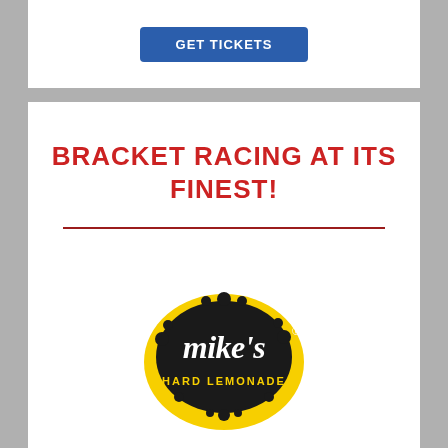[Figure (other): GET TICKETS blue button (partially visible at top)]
BRACKET RACING AT ITS FINEST!
[Figure (logo): Mike's Hard Lemonade logo — yellow lemon shape with black splatter center, white cursive 'mike's' text, yellow 'HARD LEMONADE' text below]